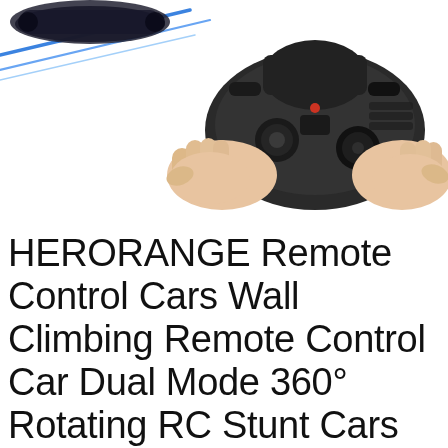[Figure (photo): Two hands holding a black RC remote control, with blue decorative light streaks in the upper left corner against a white background.]
HERORANGE Remote Control Cars Wall Climbing Remote Control Car Dual Mode 360° Rotating RC Stunt Cars with Headlight Rechargeable Toys for